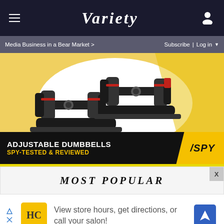≡  VARIETY  👤
Media Business in a Bear Market >   Subscribe | Log in ▼
[Figure (photo): Advertisement showing adjustable dumbbells on yellow background with black banner reading 'ADJUSTABLE DUMBBELLS SPY-TESTED & REVIEWED' with SPY logo]
MOST POPULAR
[Figure (infographic): Google Maps style advertisement with HC logo, navigation arrow icon, and text: 'View store hours, get directions, or call your salon!']